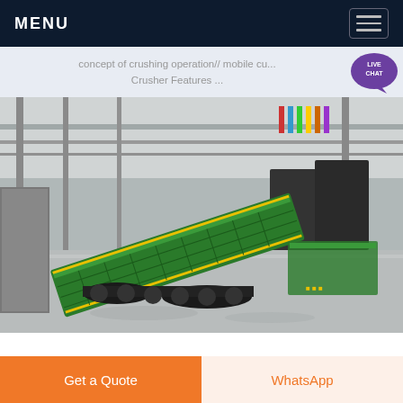MENU
concept of crushing operation// mobile cu... Crusher Features ...
[Figure (photo): Industrial indoor exhibition hall showing a large green mobile crushing/screening machine on tracks, inside a large warehouse with steel structure roof and international flags in the background.]
Get a Quote
WhatsApp